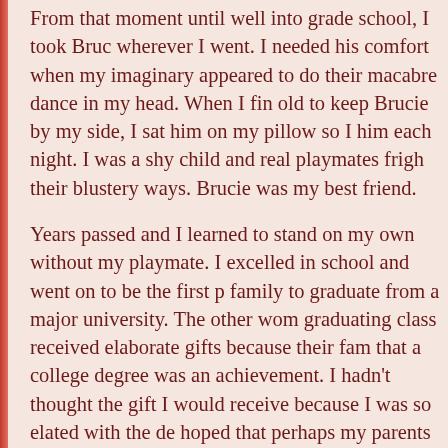From that moment until well into grade school, I took Brucie wherever I went. I needed his comfort when my imaginary appeared to do their macabre dance in my head. When I fina old to keep Brucie by my side, I sat him on my pillow so I c him each night. I was a shy child and real playmates frighte their blustery ways. Brucie was my best friend.
Years passed and I learned to stand on my own without my playmate. I excelled in school and went on to be the first pe family to graduate from a major university. The other wome graduating class received elaborate gifts because their fami that a college degree was an achievement. I hadn't thought the gift I would receive because I was so elated with the deg hoped that perhaps my parents would buy me an electric ty could write down the stories growing inside me even then, b think that would happen. They hadn't made much of a fuss graduation and I was resigned to coming home and doing m summer work at a day camp before leaving Toledo for a tea Cleveland. My father drove to Ann Arbor to pick me up anc the car with a four-year accumulation of mementoes, books clothing. We returned home exhausted from the trip and my opened the door to greet me. "I have a lovely surprise for yo